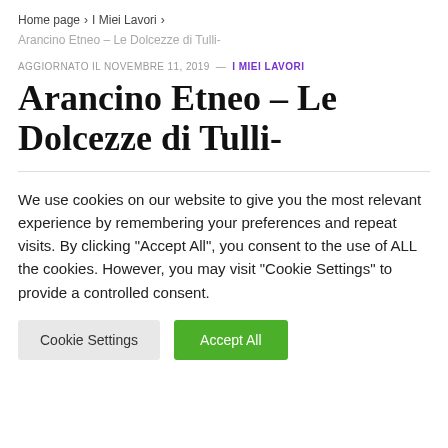Home page > I Miei Lavori >
Arancino Etneo – Le Dolcezze di Tulli-
AGGIORNATO IL NOVEMBRE 11, 2019 — I MIEI LAVORI
Arancino Etneo – Le Dolcezze di Tulli-
We use cookies on our website to give you the most relevant experience by remembering your preferences and repeat visits. By clicking "Accept All", you consent to the use of ALL the cookies. However, you may visit "Cookie Settings" to provide a controlled consent.